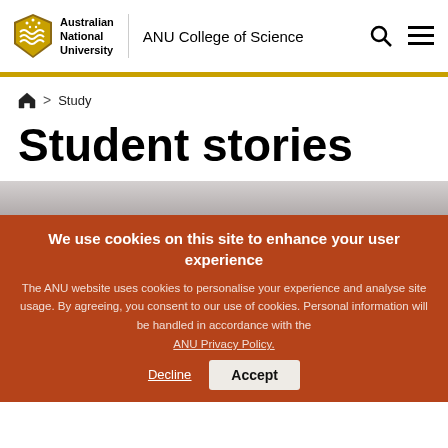[Figure (logo): Australian National University shield logo with text 'Australian National University' and 'ANU College of Science' header navigation with search and menu icons]
Home > Study
Student stories
[Figure (photo): Blurred background image strip]
We use cookies on this site to enhance your user experience
The ANU website uses cookies to personalise your experience and analyse site usage. By agreeing, you consent to our use of cookies. Personal information will be handled in accordance with the
ANU Privacy Policy.
Decline  Accept